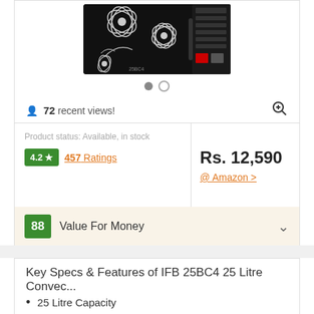[Figure (photo): Product image of IFB 25BC4 25 Litre Convection Microwave oven with floral design on black surface]
72 recent views!
Product status: Available, in stock
4.2 ★  457 Ratings
Rs. 12,590
@ Amazon >
88  Value For Money
Key Specs & Features of IFB 25BC4 25 Litre Convec...
25 Litre Capacity
Convection
1400W Power Output
1 Year Warranty